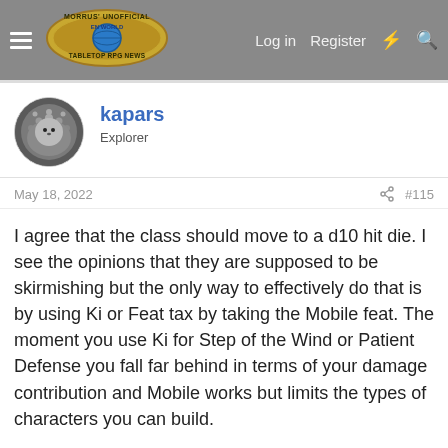Morrus' Unofficial Tabletop RPG News — Log in  Register
kapars
Explorer
May 18, 2022   #115
I agree that the class should move to a d10 hit die. I see the opinions that they are supposed to be skirmishing but the only way to effectively do that is by using Ki or Feat tax by taking the Mobile feat. The moment you use Ki for Step of the Wind or Patient Defense you fall far behind in terms of your damage contribution and Mobile works but limits the types of characters you can build.
If you look at the expected incoming damage on page 274 of the DMG and you apply the average to hit bonus and you compare it to where unarmored defense is in terms of progression you see that often the Monk will not be able to